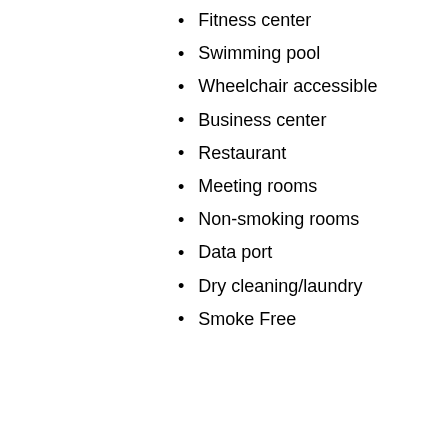Fitness center
Swimming pool
Wheelchair accessible
Business center
Restaurant
Meeting rooms
Non-smoking rooms
Data port
Dry cleaning/laundry
Smoke Free